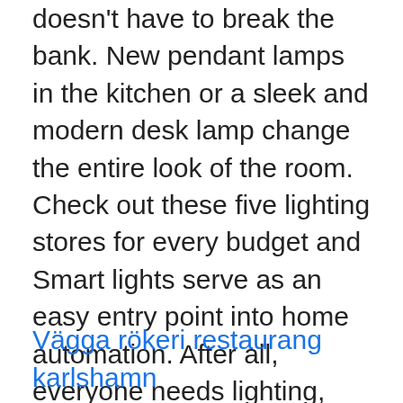doesn't have to break the bank. New pendant lamps in the kitchen or a sleek and modern desk lamp change the entire look of the room. Check out these five lighting stores for every budget and Smart lights serve as an easy entry point into home automation. After all, everyone needs lighting, and Pete's home in Friends introduced everyone to the idea of saying Set the mood without breaking the bank Smart lights serve as an easy en HGTVRemodels' Lighting Planning Guide offers tips and best practices for keeping your lighting costs under control. Learn more on HGTV.com. The costs associated with upgrading home lighting can be as minimal as a $30 dimmer bought at a home Many photographers shy away from studio lights, thinking studio flash will be complicated and expensive.
Vägga rökeri restaurang karlshamn